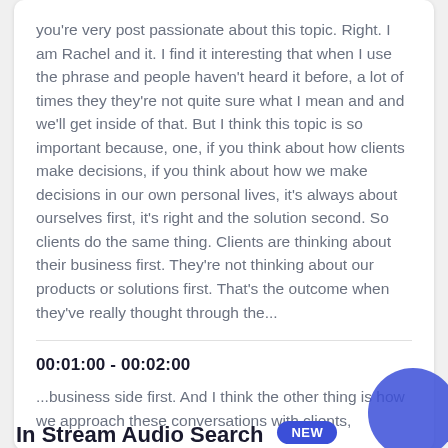you're very post passionate about this topic. Right. I am Rachel and it. I find it interesting that when I use the phrase and people haven't heard it before, a lot of times they they're not quite sure what I mean and and we'll get inside of that. But I think this topic is so important because, one, if you think about how clients make decisions, if you think about how we make decisions in our own personal lives, it's always about ourselves first, it's right and the solution second. So clients do the same thing. Clients are thinking about their business first. They're not thinking about our products or solutions first. That's the outcome when they've really thought through the...
00:01:00 - 00:02:00
...business side first. And I think the other thing is how we approach these conversations with clients,
In Stream Audio Search
NEW